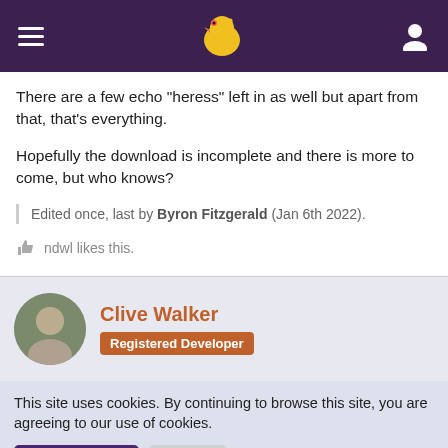Navigation header with hamburger menu, bird logo, and user icon
There are a few echo "heress" left in as well but apart from that, that's everything.
Hopefully the download is incomplete and there is more to come, but who knows?
Edited once, last by Byron Fitzgerald (Jan 6th 2022).
ndwl likes this.
Clive Walker
Registered Developer
This site uses cookies. By continuing to browse this site, you are agreeing to our use of cookies.